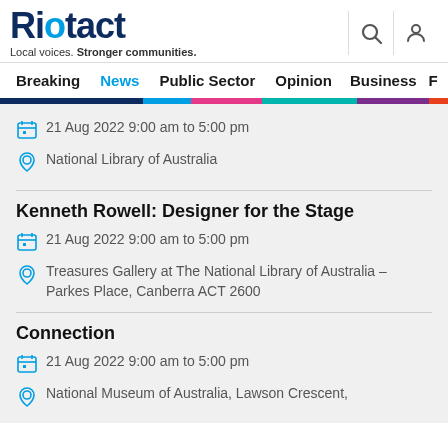Riotact – Local voices. Stronger communities.
Breaking  News  Public Sector  Opinion  Business  F
21 Aug 2022 9:00 am to 5:00 pm
National Library of Australia
Kenneth Rowell: Designer for the Stage
21 Aug 2022 9:00 am to 5:00 pm
Treasures Gallery at The National Library of Australia – Parkes Place, Canberra ACT 2600
Connection
21 Aug 2022 9:00 am to 5:00 pm
National Museum of Australia, Lawson Crescent,